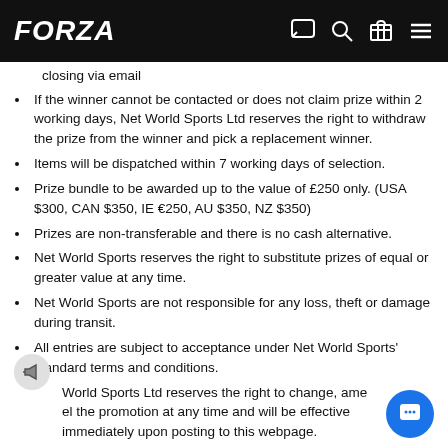FORZA
closing via email
If the winner cannot be contacted or does not claim prize within 2 working days, Net World Sports Ltd reserves the right to withdraw the prize from the winner and pick a replacement winner.
Items will be dispatched within 7 working days of selection.
Prize bundle to be awarded up to the value of £250 only. (USA $300, CAN $350, IE €250, AU $350, NZ $350)
Prizes are non-transferable and there is no cash alternative.
Net World Sports reserves the right to substitute prizes of equal or greater value at any time.
Net World Sports are not responsible for any loss, theft or damage during transit.
All entries are subject to acceptance under Net World Sports' standard terms and conditions.
World Sports Ltd reserves the right to change, ame[nd/cancel] the promotion at any time and will be effective immediately upon posting to this webpage.